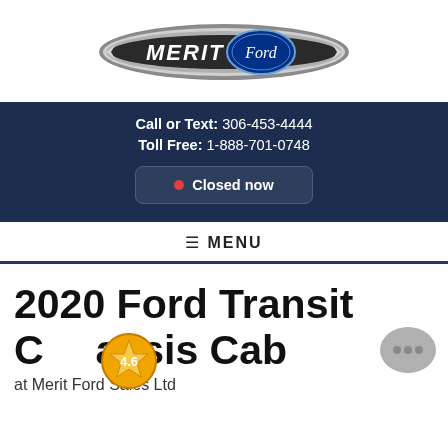[Figure (logo): Merit Ford dealership logo — silver swoosh oval with blue Ford oval badge and 'MERIT Ford' text]
Call or Text: 306-453-4444
Toll Free: 1-888-701-0748
● Closed now
☰ MENU
2020 Ford Transit Chassis Cab
at Merit Ford Sales Ltd
[Figure (other): Star rating badge showing 4.6 rating with orange star icon]
[Figure (other): Grey chat bubble icon with three dots]